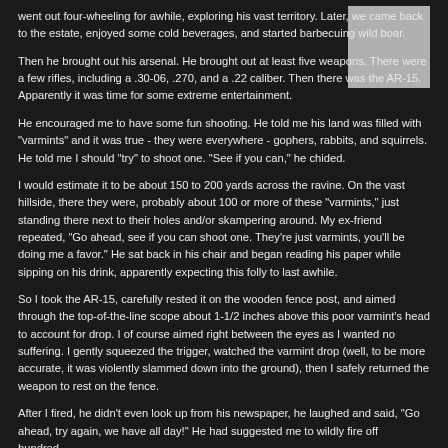went out four-wheeling for awhile, exploring his vast territory. Later, we came back to the estate, enjoyed some cold beverages, and started barbecuing wild boar.
[Figure (photo): A light gray rectangular image placeholder in the upper right corner of the page.]
Then he brought out his arsenal. He brought out at least five weapons. There were a few rifles, including a .30-06, .270, and a .22 caliber. Then there was the AR-15. Apparently it was time for some extreme entertainment.
He encouraged me to have some fun shooting. He told me his land was filled with "varmints" and it was true - they were everywhere - gophers, rabbits, and squirrels. He told me I should "try" to shoot one. "See if you can," he chided.
I would estimate it to be about 150 to 200 yards across the ravine. On the vast hillside, there they were, probably about 100 or more of these "varmints," just standing there next to their holes and/or skampering around. My ex-friend repeated, "Go ahead, see if you can shoot one. They're just varmints, you'll be doing me a favor." He sat back in his chair and began reading his paper while sipping on his drink, apparently expecting this folly to last awhile.
So I took the AR-15, carefully rested it on the wooden fence post, and aimed through the top-of-the-line scope about 1-1/2 inches above this poor varmint's head to account for drop. I of course aimed right between the eyes as I wanted no suffering. I gently squeezed the trigger, watched the varmint drop (well, to be more accurate, it was violently slammed down into the ground), then I safely returned the weapon to rest on the fence.
After I fired, he didn't even look up from his newspaper, he laughed and said, "Go ahead, try again, we have all day!" He had suggested me to wildly fire off hundred...